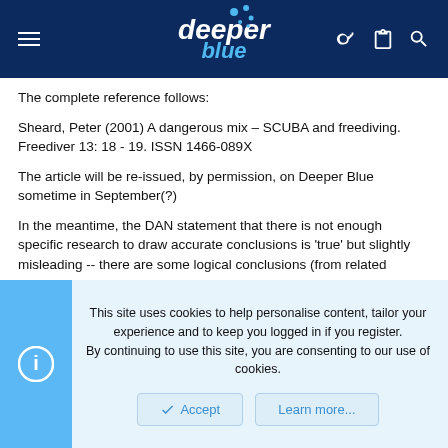deeper blue
The complete reference follows:
Sheard, Peter (2001) A dangerous mix – SCUBA and freediving. Freediver 13: 18 - 19. ISSN 1466-089X
The article will be re-issued, by permission, on Deeper Blue sometime in September(?)
In the meantime, the DAN statement that there is not enough specific research to draw accurate conclusions is 'true' but slightly misleading -- there are some logical conclusions (from related research and basical physical processes) to be drawn that the combination is risky.
The risks lie not in added nitrogen but in 'migrating bubbles.'
This site uses cookies to help personalise content, tailor your experience and to keep you logged in if you register.
By continuing to use this site, you are consenting to our use of cookies.